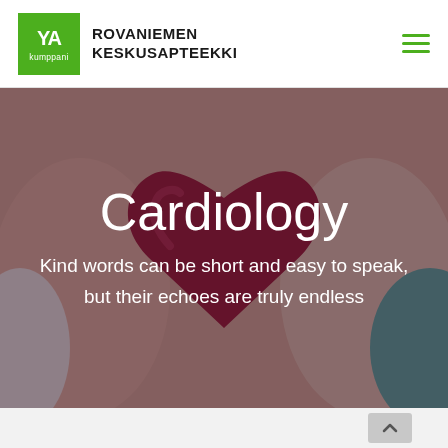ROVANIEMEN KESKUSAPTEEKKI
[Figure (photo): Hands holding a red heart shape, medical/cardiology themed hero image with dark overlay]
Cardiology
Kind words can be short and easy to speak, but their echoes are truly endless